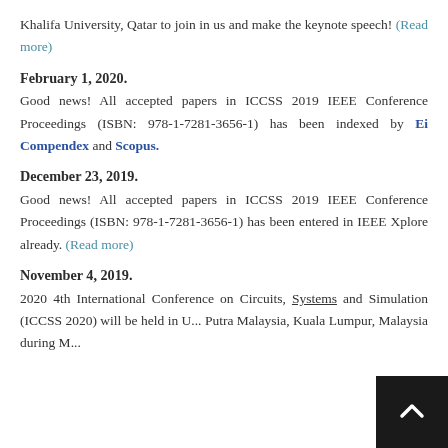Khalifa University, Qatar to join in us and make the keynote speech! (Read more)
February 1, 2020.
Good news! All accepted papers in ICCSS 2019 IEEE Conference Proceedings (ISBN: 978-1-7281-3656-1) has been indexed by Ei Compendex and Scopus.
December 23, 2019.
Good news! All accepted papers in ICCSS 2019 IEEE Conference Proceedings (ISBN: 978-1-7281-3656-1) has been entered in IEEE Xplore already. (Read more)
November 4, 2019.
2020 4th International Conference on Circuits, Systems and Simulation (ICCSS 2020) will be held in U... Putra Malaysia, Kuala Lumpur, Malaysia during M...